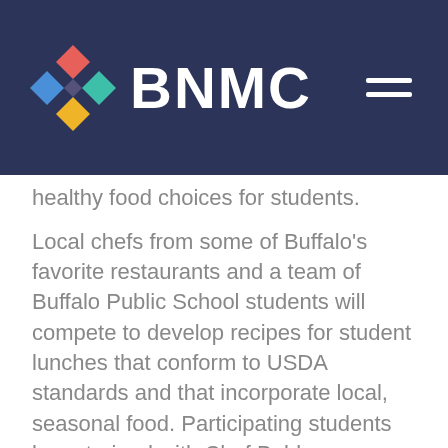[Figure (logo): BNMC logo with colorful diamond/arrow shapes and white text on dark navy background header with hamburger menu icon]
healthy food choices for students.
Local chefs from some of Buffalo's favorite restaurants and a team of Buffalo Public School students will compete to develop recipes for student lunches that conform to USDA standards and that incorporate local, seasonal food. Participating students have trained with Chef Bobby Anderson, Executive Director of F Bites, a program, which uses culinary instruction as a vehicle to develop leadership, professional skills, college and career readiness. Winning recipes will be highlighted on the December school menu in participating Buffalo Public Schools. Preparation,